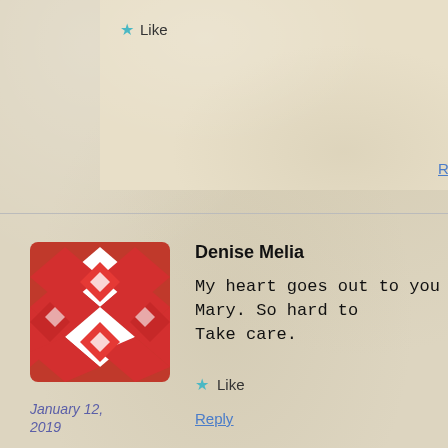Like
Reply
Denise Melia
My heart goes out to you Mary. So hard to
Take care.
January 12, 2019
Like
Reply
stampsnlingers
Thank you so much, Denise - I appreciat
January 12, 2019
Like
Reply